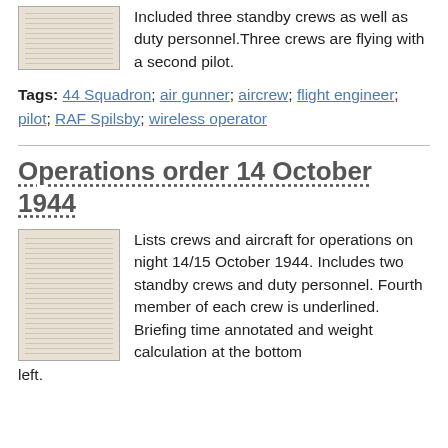[Figure (photo): Thumbnail of a document page showing handwritten or typed list]
Included three standby crews as well as duty personnel.Three crews are flying with a second pilot.
Tags: 44 Squadron; air gunner; aircrew; flight engineer; pilot; RAF Spilsby; wireless operator
Operations order 14 October 1944
[Figure (photo): Thumbnail of a document page listing crews and aircraft for operations on night 14/15 October 1944]
Lists crews and aircraft for operations on night 14/15 October 1944. Includes two standby crews and duty personnel. Fourth member of each crew is underlined. Briefing time annotated and weight calculation at the bottom left.